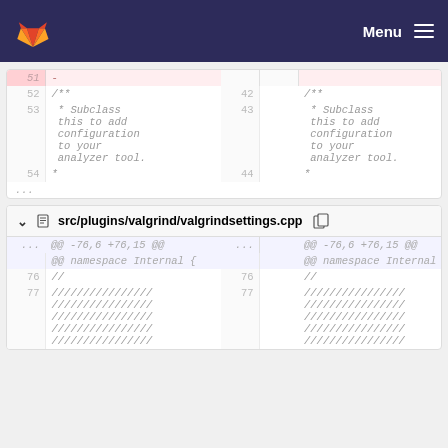GitLab — Menu
[Figure (screenshot): Code diff view showing lines 51-54 with deleted line 51 on left and lines 42-44 on right. Content is a /** Subclass this to add configuration to your analyzer tool. */ comment block.]
src/plugins/valgrind/valgrindsettings.cpp
[Figure (screenshot): Code diff view for valgrindsettings.cpp showing @@ -76,6 +76,15 @@ namespace Internal { hunk header and lines 76-77 with // and //////////////// content on both sides.]